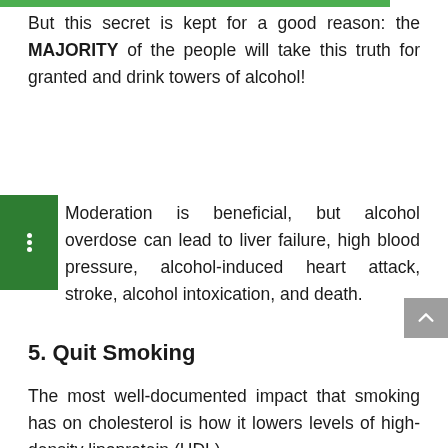But this secret is kept for a good reason: the MAJORITY of the people will take this truth for granted and drink towers of alcohol!
Moderation is beneficial, but alcohol overdose can lead to liver failure, high blood pressure, alcohol-induced heart attack, stroke, alcohol intoxication, and death.
5. Quit Smoking
The most well-documented impact that smoking has on cholesterol is how it lowers levels of high-density lipoprotein (HDL).